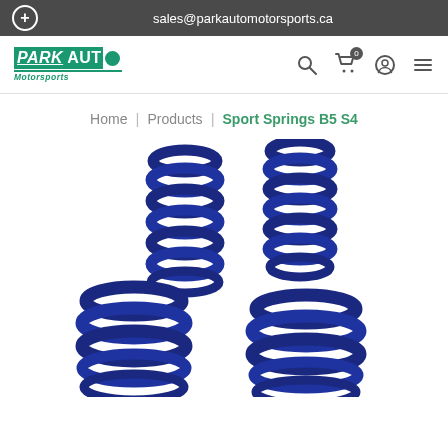sales@parkautomotorsports.ca
[Figure (logo): Park Auto Motorsports logo with green background and italic text]
Home | Products | Sport Springs B5 S4
[Figure (photo): Four dark blue coil sport springs (H&R style) arranged in a group on white background — two taller springs at back, two lower/wider springs at front]